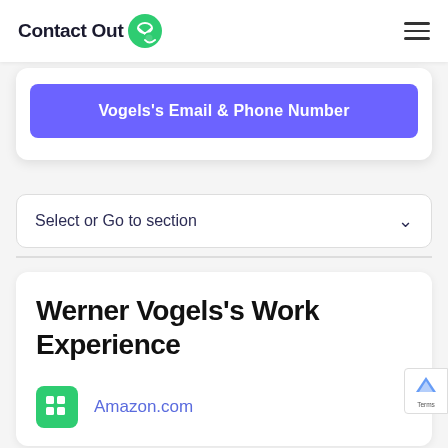ContactOut
Vogels's Email & Phone Number
Select or Go to section
Werner Vogels's Work Experience
Amazon.com